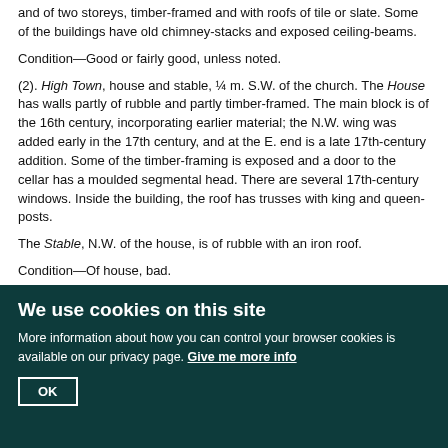and of two storeys, timber-framed and with roofs of tile or slate. Some of the buildings have old chimney-stacks and exposed ceiling-beams.
Condition—Good or fairly good, unless noted.
(2). High Town, house and stable, ¼ m. S.W. of the church. The House has walls partly of rubble and partly timber-framed. The main block is of the 16th century, incorporating earlier material; the N.W. wing was added early in the 17th century, and at the E. end is a late 17th-century addition. Some of the timber-framing is exposed and a door to the cellar has a moulded segmental head. There are several 17th-century windows. Inside the building, the roof has trusses with king and queen-posts.
The Stable, N.W. of the house, is of rubble with an iron roof.
Condition—Of house, bad.
(3). Cottage, 100 yards N. of (2), is partly of rubble. Some of the timber-framing is exposed.
Condition—Poor.
(4). Cottage, 100 yards E. of (3), has a thatched roof and exposed timber-framing.
We use cookies on this site
More information about how you can control your browser cookies is available on our privacy page. Give me more info
OK